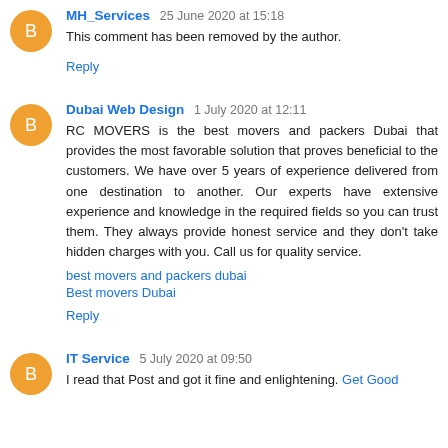MH_Services 25 June 2020 at 15:18
This comment has been removed by the author.
Reply
Dubai Web Design 1 July 2020 at 12:11
RC MOVERS is the best movers and packers Dubai that provides the most favorable solution that proves beneficial to the customers. We have over 5 years of experience delivered from one destination to another. Our experts have extensive experience and knowledge in the required fields so you can trust them. They always provide honest service and they don't take hidden charges with you. Call us for quality service.
best movers and packers dubai
Best movers Dubai
Reply
IT Service 5 July 2020 at 09:50
I read that Post and got it fine and enlightening. Get Good